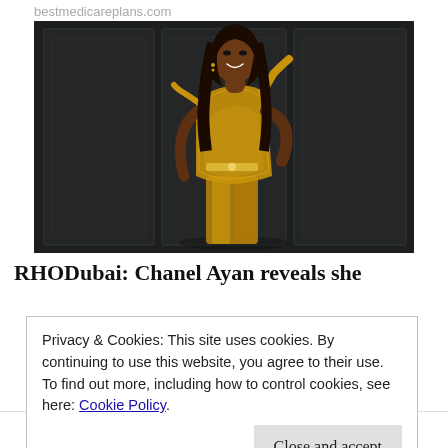bestmedicareplans.com
[Figure (photo): Woman in a gold sequin dress posing against a dark paneled wall background]
RHODubai: Chanel Ayan reveals she
Privacy & Cookies: This site uses cookies. By continuing to use this website, you agree to their use.
To find out more, including how to control cookies, see here: Cookie Policy
Close and accept
LinkedIn  Tumblr  Reddit  More